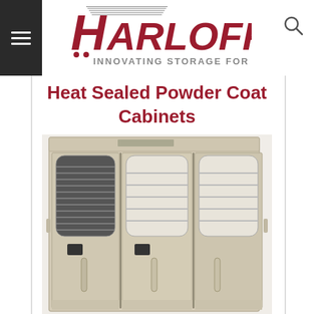Harloff — Innovating Storage for Care
Heat Sealed Powder Coat Cabinets
[Figure (photo): A large beige/tan multi-door medical storage cabinet with three sections, each with glass-windowed doors showing interior shelving, electronic keypad locks, and vertical handles. Cabinet appears to be a heat sealed powder coat model.]